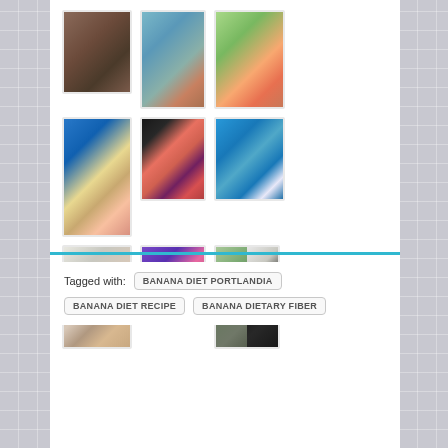[Figure (photo): Grid of before/after diet transformation photos arranged in 3 rows of 3 image groups, showing women in various stages of weight loss transformations]
Tagged with: BANANA DIET PORTLANDIA BANANA DIET RECIPE BANANA DIETARY FIBER